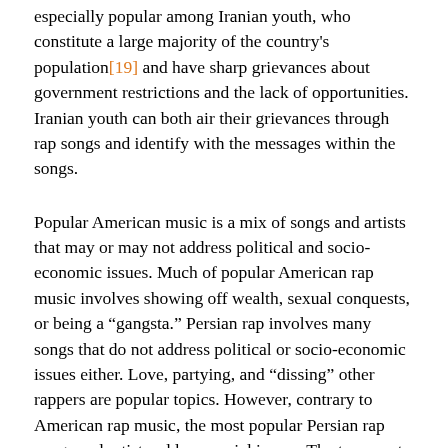especially popular among Iranian youth, who constitute a large majority of the country's population[19] and have sharp grievances about government restrictions and the lack of opportunities. Iranian youth can both air their grievances through rap songs and identify with the messages within the songs.
Popular American music is a mix of songs and artists that may or may not address political and socio-economic issues. Much of popular American rap music involves showing off wealth, sexual conquests, or being a “gangsta.” Persian rap involves many songs that do not address political or socio-economic issues either. Love, partying, and “dissing” other rappers are popular topics. However, contrary to American rap music, the most popular Persian rap songs and artists address social issues. The two most popular Iranian rappers, Yas and Hichkas, focus most of their efforts on socio-economic issues. Most of the big names in Persian rap music and the most popular songs on YouTube, a popular online